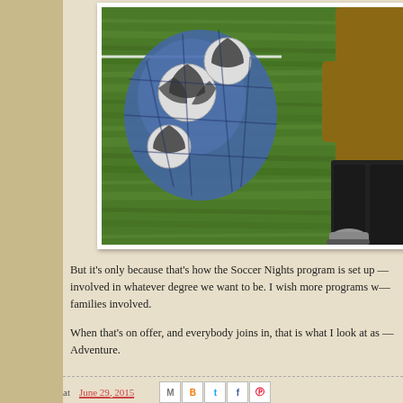[Figure (photo): A child carrying a mesh bag of soccer balls on a grass field, photographed from above with motion blur on the grass. A person's legs and feet (wearing cleats) are visible on the right side.]
But it's only because that's how the Soccer Nights program is set up — involved in whatever degree we want to be. I wish more programs w— families involved.
When that's on offer, and everybody joins in, that is what I look at as — Adventure.
at June 29, 2015